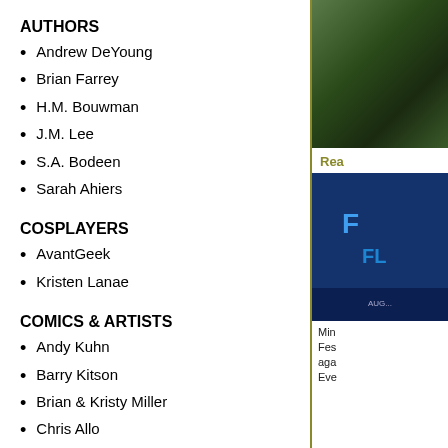AUTHORS
Andrew DeYoung
Brian Farrey
H.M. Bouwman
J.M. Lee
S.A. Bodeen
Sarah Ahiers
COSPLAYERS
AvantGeek
Kristen Lanae
COMICS & ARTISTS
Andy Kuhn
Barry Kitson
Brian & Kristy Miller
Chris Allo
Christopher Priest
Dan Jurgens
Dave Wheeler
[Figure (photo): Photo image in right column top]
Rea
[Figure (photo): Blue promotional image in right column bottom]
Min Fes aga Eve